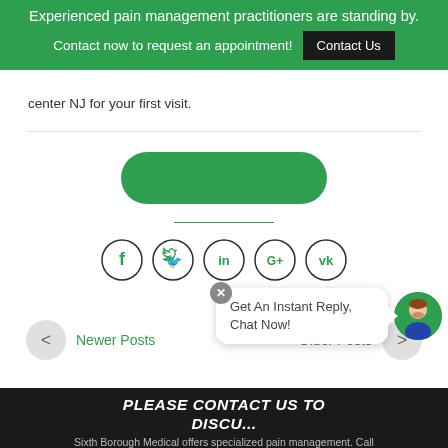Experienced pain management practitioners are standing by. Contact now to request an appointment! Contact Us
center NJ for your first visit.
[Figure (other): Green pill/rounded button]
[Figure (other): Social media icons row: Facebook, Twitter, LinkedIn, Google+, VK]
Newer Posts
Older Posts
PLEASE CONTACT US TO DISCUSS
Sixth Borough Medical offers specialized pain management. Call
[Figure (other): Chat bubble popup: Get An Instant Reply, Chat Now! with avatar]